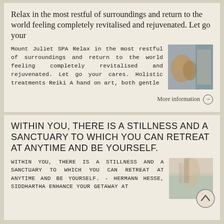Relax in the most restful of surroundings and return to the world feeling completely revitalised and rejuvenated. Let go your
Mount Juliet SPA Relax in the most restful of surroundings and return to the world feeling completely revitalised and rejuvenated. Let go your cares. Holistic treatments Reiki A hand on art, both gentle
[Figure (photo): A spa-related thumbnail image with warm tones, showing what appears to be spa stones or treatments]
More information →
WITHIN YOU, THERE IS A STILLNESS AND A SANCTUARY TO WHICH YOU CAN RETREAT AT ANYTIME AND BE YOURSELF.
WITHIN YOU, THERE IS A STILLNESS AND A SANCTUARY TO WHICH YOU CAN RETREAT AT ANYTIME AND BE YOURSELF. - Hermann Hesse, Siddhartha Enhance your getaway at
[Figure (photo): A small thumbnail image associated with the retreat/sanctuary content, with a back-to-top arrow button overlaid]